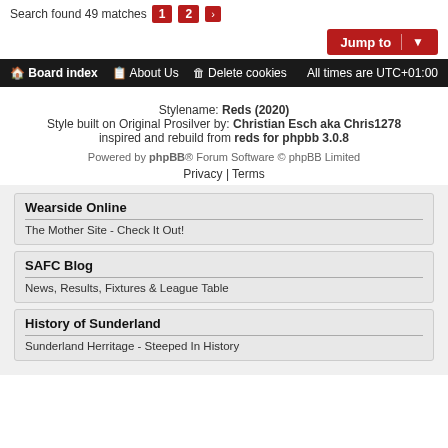Search found 49 matches  1  2  >
Jump to
Board index  About Us  Delete cookies  All times are UTC+01:00
Stylename: Reds (2020)
Style built on Original Prosilver by: Christian Esch aka Chris1278
inspired and rebuild from reds for phpbb 3.0.8
Powered by phpBB® Forum Software © phpBB Limited
Privacy | Terms
Wearside Online
The Mother Site - Check It Out!
SAFC Blog
News, Results, Fixtures & League Table
History of Sunderland
Sunderland Herritage - Steeped In History